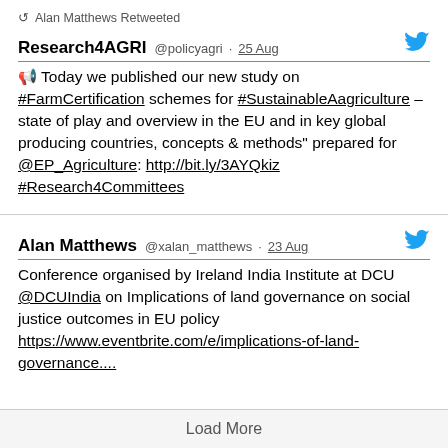Alan Matthews Retweeted
Research4AGRI @policyagri · 25 Aug
📢 Today we published our new study on #FarmCertification schemes for #SustainableAagriculture – state of play and overview in the EU and in key global producing countries, concepts & methods" prepared for @EP_Agriculture: http://bit.ly/3AYQkiz #Research4Committees
Alan Matthews @xalan_matthews · 23 Aug
Conference organised by Ireland India Institute at DCU @DCUIndia on Implications of land governance on social justice outcomes in EU policy https://www.eventbrite.com/e/implications-of-land-governance....
Load More